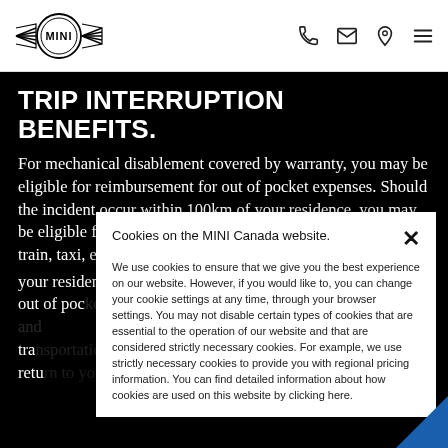[Figure (logo): MINI logo with wings and circle emblem in header]
[Figure (other): Header icons: phone, email/envelope, location pin, hamburger menu]
TRIP INTERRUPTION BENEFITS.
For mechanical disablement covered by warranty, you may be eligible for reimbursement for out of pocket expenses. Should the incident occur within 100km of your residence, you may be eligible for up to $100 for commercial transportation (bus, train, taxi, etc.). Should the incident occur over 100km from your residence³, you may be eligible for a reimbursement for out of pocket expenses including commercial transportation and return
Cookies on the MINI Canada website.
We use cookies to ensure that we give you the best experience on our website. However, if you would like to, you can change your cookie settings at any time, through your browser settings. You may not disable certain types of cookies that are essential to the operation of our website and that are considered strictly necessary cookies. For example, we use strictly necessary cookies to provide you with regional pricing information. You can find detailed information about how cookies are used on this website by clicking here.